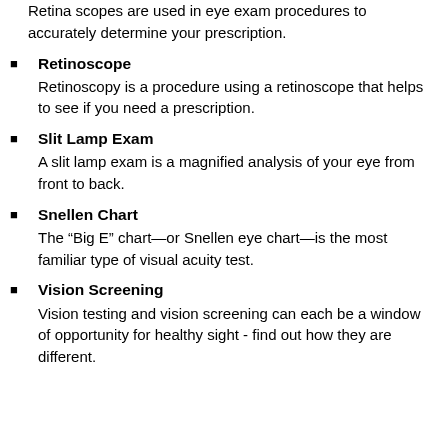Retina scopes are used in eye exam procedures to accurately determine your prescription.
Retinoscope
Retinoscopy is a procedure using a retinoscope that helps to see if you need a prescription.
Slit Lamp Exam
A slit lamp exam is a magnified analysis of your eye from front to back.
Snellen Chart
The “Big E” chart—or Snellen eye chart—is the most familiar type of visual acuity test.
Vision Screening
Vision testing and vision screening can each be a window of opportunity for healthy sight - find out how they are different.